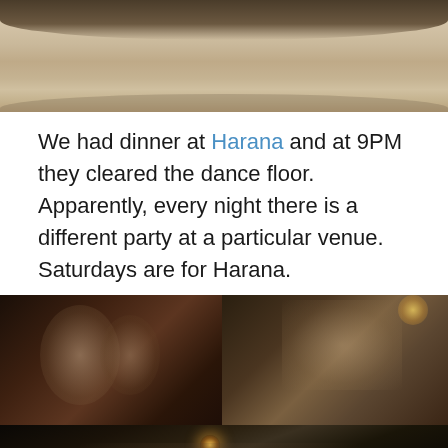[Figure (photo): Top portion of a beach scene showing sand with shadows and footprints, curved dark overhang at top]
We had dinner at Harana and at 9PM they cleared the dance floor. Apparently, every night there is a different party at a particular venue. Saturdays are for Harana.
[Figure (photo): Left photo: indoor party scene with people dancing and socializing in dim warm lighting]
[Figure (photo): Right photo: outdoor night crowd gathering with people standing, warm ambient lighting]
[Figure (photo): Bottom photo: outdoor night scene with group of people posing, string lights visible, tropical vegetation in background]